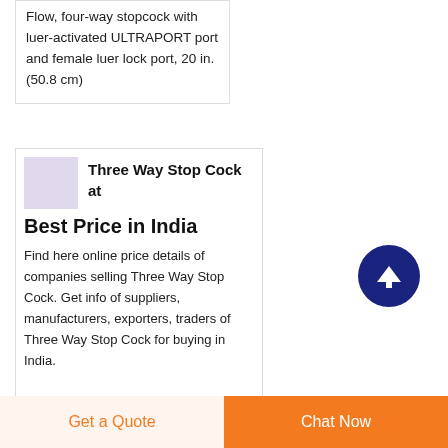Flow, four-way stopcock with luer-activated ULTRAPORT port and female luer lock port, 20 in. (50.8 cm)
Three Way Stop Cock at Best Price in India
Find here online price details of companies selling Three Way Stop Cock. Get info of suppliers, manufacturers, exporters, traders of Three Way Stop Cock for buying in India.
[Figure (illustration): Small thumbnail placeholder image for Three Way Stop Cock product]
[Figure (other): Scroll-to-top button: dark navy blue circle with white upward arrow]
Get a Quote
Chat Now